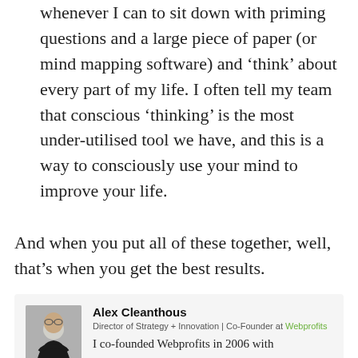whenever I can to sit down with priming questions and a large piece of paper (or mind mapping software) and 'think' about every part of my life. I often tell my team that conscious 'thinking' is the most under-utilised tool we have, and this is a way to consciously use your mind to improve your life.
And when you put all of these together, well, that's when you get the best results.
Alex Cleanthous
Director of Strategy + Innovation | Co-Founder at Webprofits
I co-founded Webprofits in 2006 with